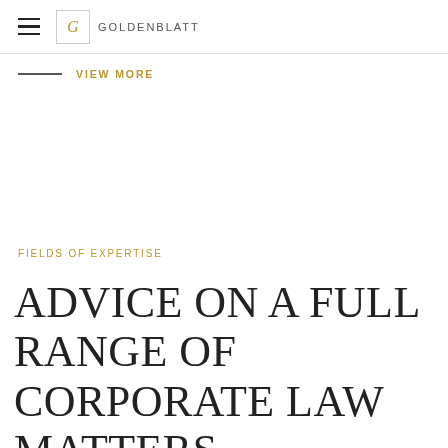G GOLDENBLATT
VIEW MORE
FIELDS OF EXPERTISE
ADVICE ON A FULL RANGE OF CORPORATE LAW MATTERS